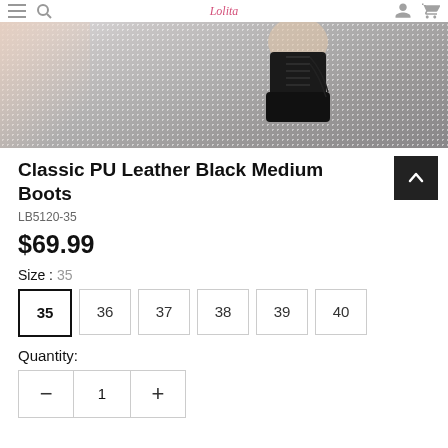[Figure (photo): Product photo of black PU leather lace-up boots on a glittery silver/grey surface. A person's leg is visible. Navigation bar with logo 'Lolita' at top.]
Classic PU Leather Black Medium Boots
LB5120-35
$69.99
Size : 35
35 36 37 38 39 40
Quantity:
1